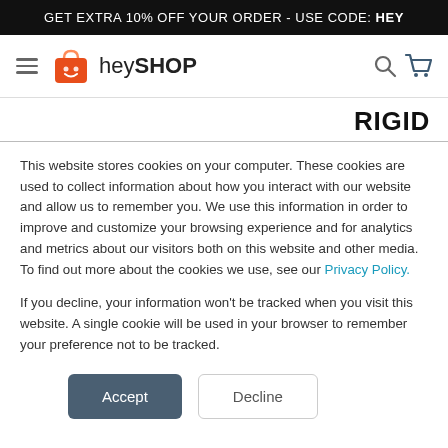GET EXTRA 10% OFF YOUR ORDER - USE CODE: HEY
[Figure (logo): heySHOP logo with orange shopping bag icon and hamburger menu, search and cart icons]
RIGID
This website stores cookies on your computer. These cookies are used to collect information about how you interact with our website and allow us to remember you. We use this information in order to improve and customize your browsing experience and for analytics and metrics about our visitors both on this website and other media. To find out more about the cookies we use, see our Privacy Policy.
If you decline, your information won't be tracked when you visit this website. A single cookie will be used in your browser to remember your preference not to be tracked.